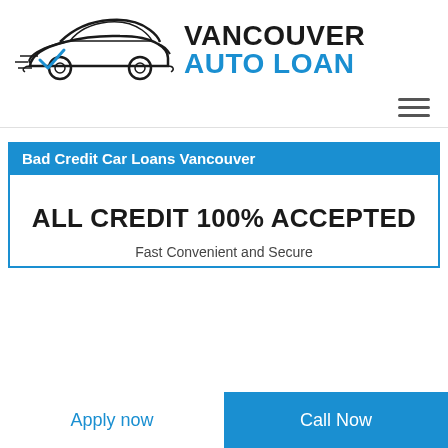[Figure (logo): Vancouver Auto Loan logo with stylized car silhouette and blue checkmark, text 'VANCOUVER AUTO LOAN']
Bad Credit Car Loans Vancouver
ALL CREDIT 100% ACCEPTED
Fast Convenient and Secure
Apply now | Call Now